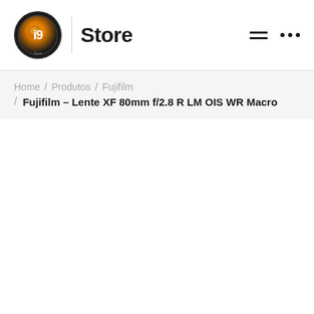[Figure (logo): i9 Store logo: circular camera lens icon with orange/gold gradient and i9 text, followed by a vertical divider and 'Store' text in bold]
i9 Store — navigation header with hamburger menu and dots menu icons
Home / Produtos / Fujifilm / Fujifilm – Lente XF 80mm f/2.8 R LM OIS WR Macro